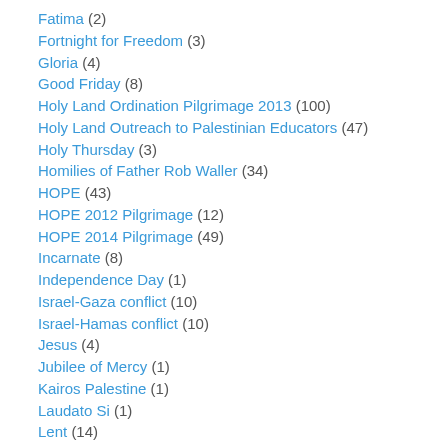Fatima (2)
Fortnight for Freedom (3)
Gloria (4)
Good Friday (8)
Holy Land Ordination Pilgrimage 2013 (100)
Holy Land Outreach to Palestinian Educators (47)
Holy Thursday (3)
Homilies of Father Rob Waller (34)
HOPE (43)
HOPE 2012 Pilgrimage (12)
HOPE 2014 Pilgrimage (49)
Incarnate (8)
Independence Day (1)
Israel-Gaza conflict (10)
Israel-Hamas conflict (10)
Jesus (4)
Jubilee of Mercy (1)
Kairos Palestine (1)
Laudato Si (1)
Lent (14)